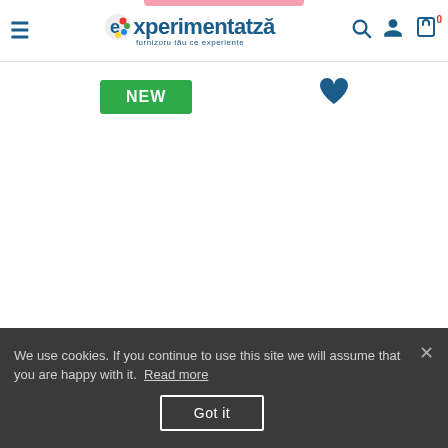[Figure (screenshot): Website header/navigation bar for 'Experimenteaza' with hamburger menu, logo, search icon, user icon, and cart icon showing 0 items]
[Figure (other): Green 'NEW' badge label and blue heart/favorite icon on product page]
We use cookies. If you continue to use this site we will assume that you are happy with it. Read more
Got it